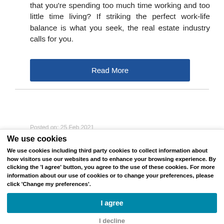that you're spending too much time working and too little time living? If striking the perfect work-life balance is what you seek, the real estate industry calls for you.
Read More
We use cookies
We use cookies including third party cookies to collect information about how visitors use our websites and to enhance your browsing experience. By clicking the 'I agree' button, you agree to the use of these cookies. For more information about our use of cookies or to change your preferences, please click 'Change my preferences'.
I agree
I decline